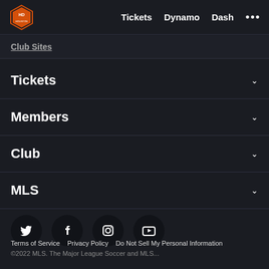Houston Dynamo | Tickets  Dynamo  Dash  ...
Club Sites
Tickets
Members
Club
MLS
[Figure (other): Social media icons row: Twitter, Facebook, Instagram, YouTube]
[Figure (logo): MLS shield logo]
Terms of Service   Privacy Policy   Do Not Sell My Personal Information
©2022 MLS. The Major League Soccer and MLS...